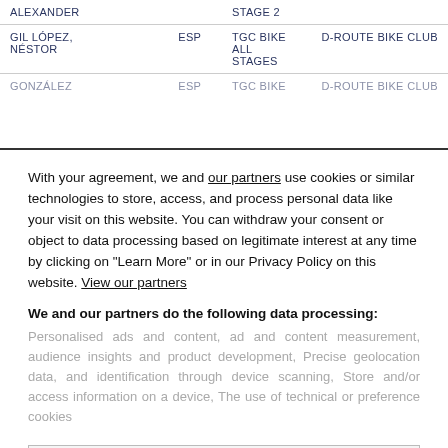| Name | Nat | Sponsor | Club |
| --- | --- | --- | --- |
| ALEXANDER |  | STAGE 2 |  |
| GIL LÓPEZ, NÉSTOR | ESP | TGC BIKE ALL STAGES | D-ROUTE BIKE CLUB |
| GONZÁLEZ | ESP | TGC BIKE | D-ROUTE BIKE CLUB |
With your agreement, we and our partners use cookies or similar technologies to store, access, and process personal data like your visit on this website. You can withdraw your consent or object to data processing based on legitimate interest at any time by clicking on "Learn More" or in our Privacy Policy on this website. View our partners
We and our partners do the following data processing:
Personalised ads and content, ad and content measurement, audience insights and product development, Precise geolocation data, and identification through device scanning, Store and/or access information on a device, The use of technical or preference cookies
Learn More →
Agree and close